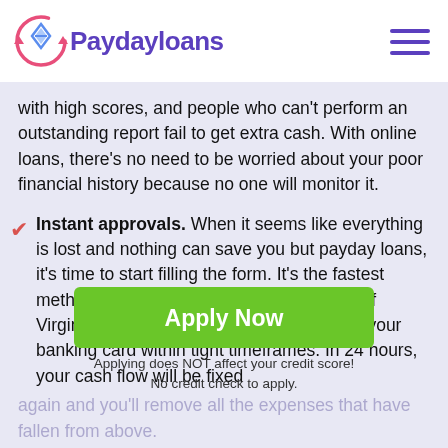Paydayloans
with high scores, and people who can't perform an outstanding report fail to get extra cash. With online loans, there's no need to be worried about your poor financial history because no one will monitor it.
Instant approvals. When it seems like everything is lost and nothing can save you but payday loans, it's time to start filling the form. It's the fastest method to refill your wallet in Woodbridge of Virginia because the money will be sent to your banking card within tight timeframes. In 24 hours, your cash flow will be fixed
again and you'll remove all the expenses that have fallen from above.
Take payday loans for serious reasons. Sometimes borrowing money isn't the best option, because you don't want to add to your
[Figure (other): Apply Now green button with subtext: Applying does NOT affect your credit score! No credit check to apply.]